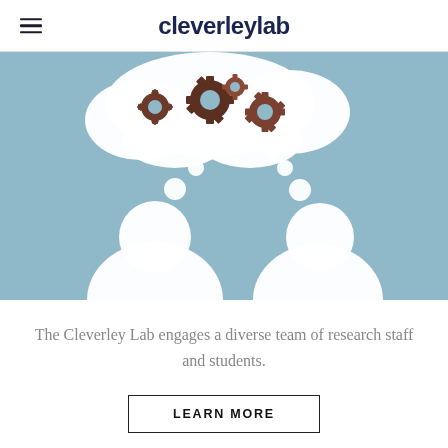cleverleylab
[Figure (illustration): Illustration of two white paper cutout human figures on a light blue background, with a thought bubble above them filled with brown gear/cog shapes, and small white circles between the figures and the thought bubble, suggesting thinking or collaboration.]
The Cleverley Lab engages a diverse team of research staff and students.
LEARN MORE